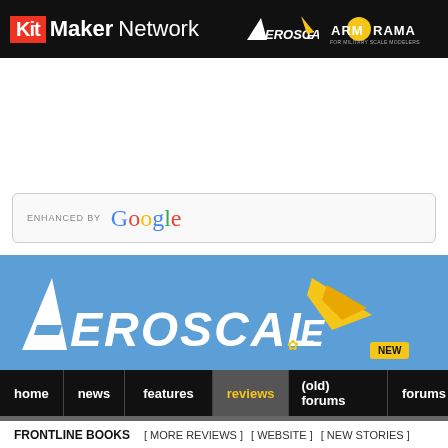Kit Maker Network | Aeroscale | Armorama
[Figure (screenshot): Google enhanced search bar]
[Figure (logo): Aeroscale banner with logo on blue background]
[Figure (screenshot): Navigation bar with home, news, features, reviews, (old) forums, forums (NEW badge) links]
FRONTLINE BOOKS [ MORE REVIEWS ] [ WEBSITE ] [ NEW STORIES ]